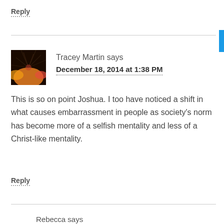Reply
Tracey Martin says
December 18, 2014 at 1:38 PM
This is so on point Joshua. I too have noticed a shift in what causes embarrassment in people as society's norm has become more of a selfish mentality and less of a Christ-like mentality.
Reply
Rebecca says